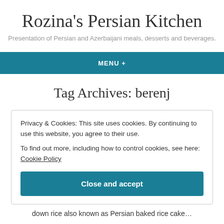Rozina's Persian Kitchen
Presentation of Persian and Azerbaijani meals, desserts and beverages.
MENU +
Tag Archives: berenj
Privacy & Cookies: This site uses cookies. By continuing to use this website, you agree to their use.
To find out more, including how to control cookies, see here: Cookie Policy
Close and accept
down rice also known as Persian baked rice cake…